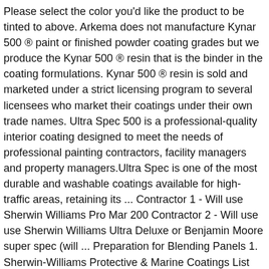Please select the color you'd like the product to be tinted to above. Arkema does not manufacture Kynar 500 ® paint or finished powder coating grades but we produce the Kynar 500 ® resin that is the binder in the coating formulations. Kynar 500 ® resin is sold and marketed under a strict licensing program to several licensees who market their coatings under their own trade names. Ultra Spec 500 is a professional-quality interior coating designed to meet the needs of professional painting contractors, facility managers and property managers.Ultra Spec is one of the most durable and washable coatings available for high-traffic areas, retaining its ... Contractor 1 - Will use Sherwin Williams Pro Mar 200 Contractor 2 - Will use use Sherwin Williams Ultra Deluxe or Benjamin Moore super spec (will ... Preparation for Blending Panels 1. Sherwin-Williams Protective & Marine Coatings List your products or services on Engineering360. Characteristics rated included application, price, and warranty or ... 3 ... Fresh Spec Zero VOC Interior Latex Eggshell Super One Coat White: Z0389 3. A quality, zero VOC acrylic latex